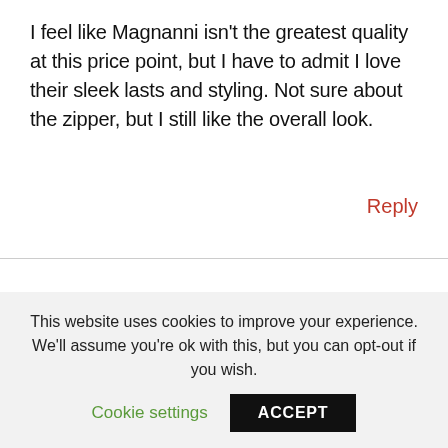I feel like Magnanni isn't the greatest quality at this price point, but I have to admit I love their sleek lasts and styling. Not sure about the zipper, but I still like the overall look.
Reply
LEAVE A COMMENT
Your email address will not be published. Required fields are marked *
This website uses cookies to improve your experience. We'll assume you're ok with this, but you can opt-out if you wish.